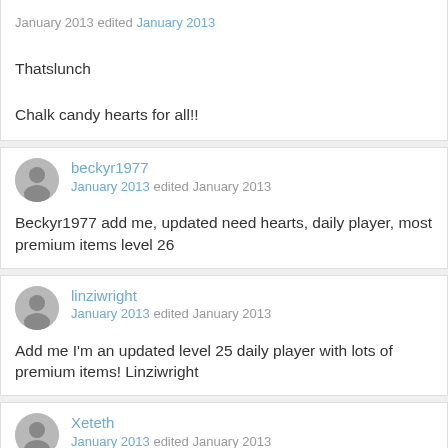Thatslunch

Chalk candy hearts for all!!
beckyr1977
January 2013 edited January 2013
Beckyr1977 add me, updated need hearts, daily player, most premium items level 26
linziwright
January 2013 edited January 2013
Add me I'm an updated level 25 daily player with lots of premium items! Linziwright
Xeteth
January 2013 edited January 2013